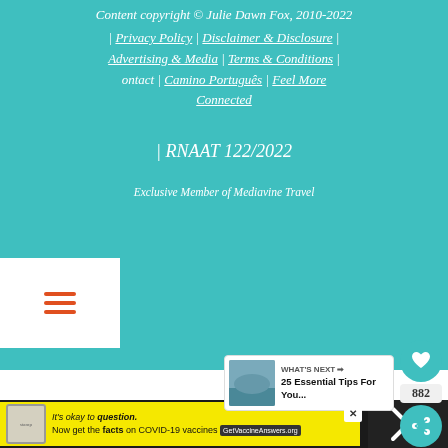Content copyright © Julie Dawn Fox, 2010-2022 | Privacy Policy | Disclaimer & Disclosure | Advertising & Media | Terms & Conditions | Contact | Camino Português | Feel More Connected
| RNAAT 122/2022
Exclusive Member of Mediavine Travel
[Figure (screenshot): What's Next widget showing a thumbnail and text '25 Essential Tips For You...']
[Figure (screenshot): Advertisement banner: It's okay to question. Now get the facts on COVID-19 vaccines. GetVaccineAnswers.org]